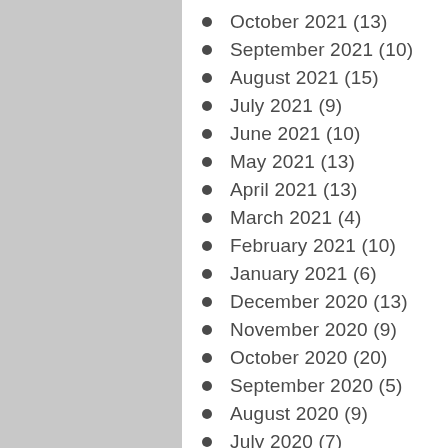October 2021 (13)
September 2021 (10)
August 2021 (15)
July 2021 (9)
June 2021 (10)
May 2021 (13)
April 2021 (13)
March 2021 (4)
February 2021 (10)
January 2021 (6)
December 2020 (13)
November 2020 (9)
October 2020 (20)
September 2020 (5)
August 2020 (9)
July 2020 (7)
June 2020 (7)
May 2020 (12)
April 2020 (15)